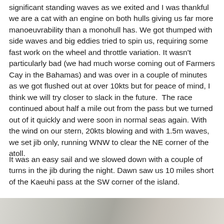significant standing waves as we exited and I was thankful we are a cat with an engine on both hulls giving us far more manoeuvrability than a monohull has. We got thumped with side waves and big eddies tried to spin us, requiring some fast work on the wheel and throttle variation. It wasn't particularly bad (we had much worse coming out of Farmers Cay in the Bahamas) and was over in a couple of minutes as we got flushed out at over 10kts but for peace of mind, I think we will try closer to slack in the future.  The race continued about half a mile out from the pass but we turned out of it quickly and were soon in normal seas again. With the wind on our stern, 20kts blowing and with 1.5m waves, we set jib only, running WNW to clear the NE corner of the atoll.
It was an easy sail and we slowed down with a couple of turns in the jib during the night. Dawn saw us 10 miles short of the Kaeuhi pass at the SW corner of the island.
[Figure (photo): Bottom strip of a photograph, partially visible, showing an outdoor scene with muted grey-green tones suggesting sky or water and possibly a boat or landscape element.]